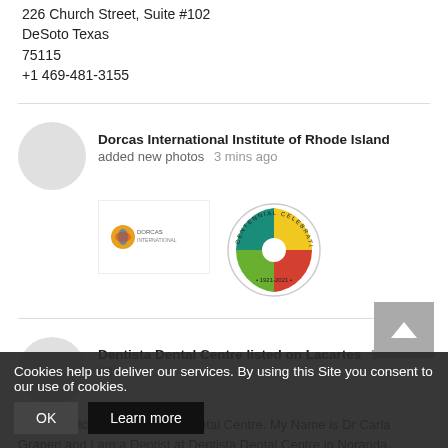226 Church Street, Suite #102
DeSoto Texas
75115
+1 469-481-3155
Dorcas International Institute of Rhode Island added new photos  3 mins ago
[Figure (logo): Dorcas International logo and Centennial Celebration 1921-2021 badge]
Dentista Dental Centre listed on Lacartes  5 mins ago
Hi and Welcome to Dentista Dental Centre. My Name is Dr Carla Graneri and I am a Dentist at Dentista Dental Centre in Noranda, Western Australia. I...
73 Camboon R...
Noranda Western Australia
Cookies help us deliver our services. By using this Site you consent to our use of cookies.